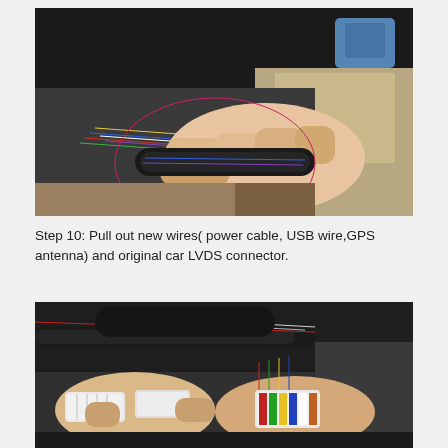[Figure (photo): Photo of a hand pulling wires from the back of a car dashboard. A pink/magenta ellipse is drawn on the image highlighting a bundle of wires being grasped. Various colored wires and car interior components are visible in the background.]
Step 10: Pull out new wires( power cable, USB wire,GPS antenna) and original car LVDS connector.
[Figure (photo): Photo of two hands holding multiple white and colored electrical connectors pulled from a car dashboard cavity. Black and red wire harnesses are visible along with multicolored wires and white rectangular connectors.]